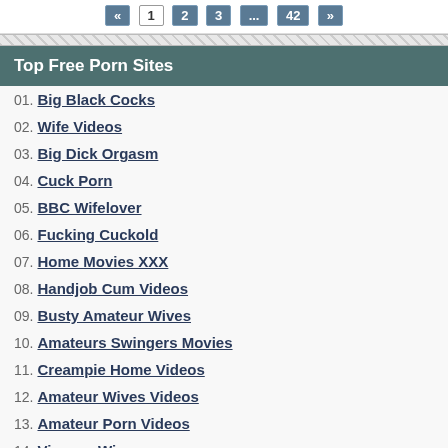« 1 2 3 ... 42 »
Top Free Porn Sites
01. Big Black Cocks
02. Wife Videos
03. Big Dick Orgasm
04. Cuck Porn
05. BBC Wifelover
06. Fucking Cuckold
07. Home Movies XXX
08. Handjob Cum Videos
09. Busty Amateur Wives
10. Amateurs Swingers Movies
11. Creampie Home Videos
12. Amateur Wives Videos
13. Amateur Porn Videos
14. Viewers Wives